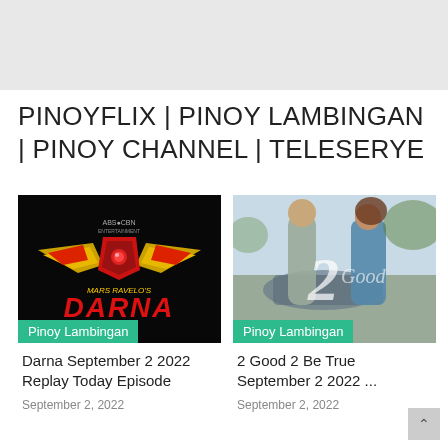PINOYFLIX | PINOY LAMBINGAN | PINOY CHANNEL | TELESERYE
[Figure (photo): Darna TV show logo on black background with ABS-CBN Entertainment branding and Mars Ravelo's Darna text in red stylized font with wings graphic]
Pinoy Lambingan
Darna September 2 2022 Replay Today Episode
September 2, 2022
[Figure (photo): 2 Good 2 Be True promotional image showing a couple near a car with stylized number 2 text overlay]
Pinoy Lambingan
2 Good 2 Be True September 2 2022 ...
September 2, 2022